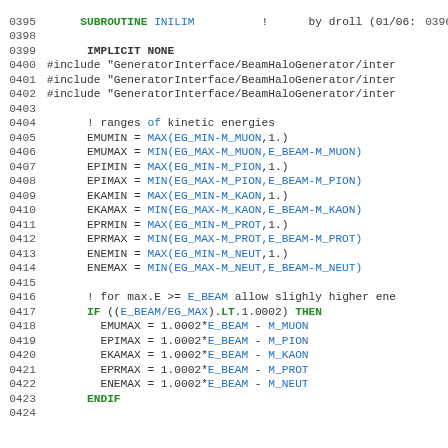Source code listing: SUBROUTINE INILIM — calculate limits for kinetic energies, lines 0395–0424